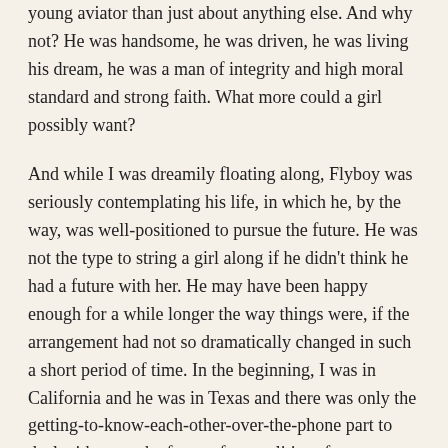young aviator than just about anything else. And why not? He was handsome, he was driven, he was living his dream, he was a man of integrity and high moral standard and strong faith. What more could a girl possibly want?

And while I was dreamily floating along, Flyboy was seriously contemplating his life, in which he, by the way, was well-positioned to pursue the future. He was not the type to string a girl along if he didn't think he had a future with her. He may have been happy enough for a while longer the way things were, if the arrangement had not so dramatically changed in such a short period of time. In the beginning, I was in California and he was in Texas and there was only the getting-to-know-each-other-over-the-phone part to deal with – not the face to face realities of a relationship. But this wasn't just about expensive phone bills any more. We were together (though 200 miles apart) and the fact that I was in Texas, in the flesh, in his life meant he had to do something about it. As he prayed through the circumstances of